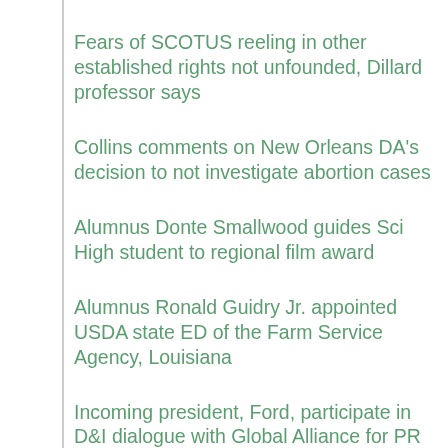Fears of SCOTUS reeling in other established rights not unfounded, Dillard professor says
Collins comments on New Orleans DA's decision to not investigate abortion cases
Alumnus Donte Smallwood guides Sci High student to regional film award
Alumnus Ronald Guidry Jr. appointed USDA state ED of the Farm Service Agency, Louisiana
Incoming president, Ford, participate in D&I dialogue with Global Alliance for PR